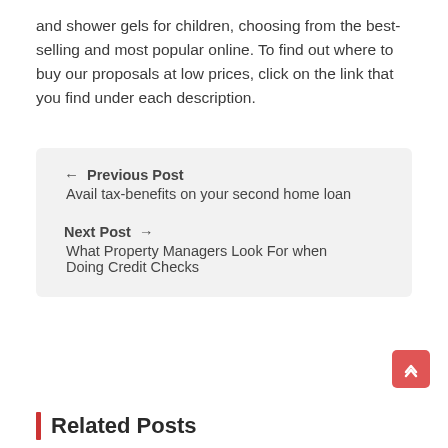and shower gels for children, choosing from the best-selling and most popular online. To find out where to buy our proposals at low prices, click on the link that you find under each description.
← Previous Post
Avail tax-benefits on your second home loan
Next Post →
What Property Managers Look For when Doing Credit Checks
Related Posts